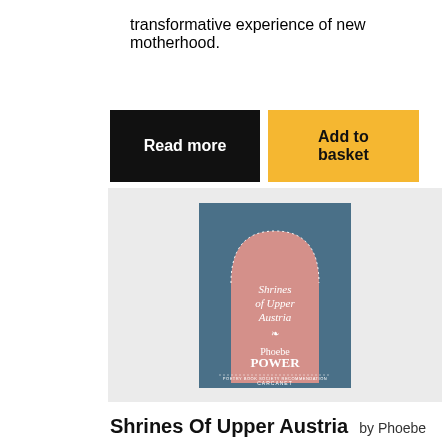Liz Berry turns her distinctive voice to the transformative experience of new motherhood.
[Figure (illustration): Two buttons: a black 'Read more' button on the left and a yellow/amber 'Add to basket' button on the right]
[Figure (photo): Book cover of 'Shrines of Upper Austria' by Phoebe Power. Dark teal/slate blue background with a pink arched shape in the center. White italic text reads 'Shrines of Upper Austria' with a small decorative flourish and 'Phoebe POWER' below. Bottom reads 'POETRY BOOK SOCIETY RECOMMENDATION' and 'CARCANET'.]
Shrines Of Upper Austria by Phoebe